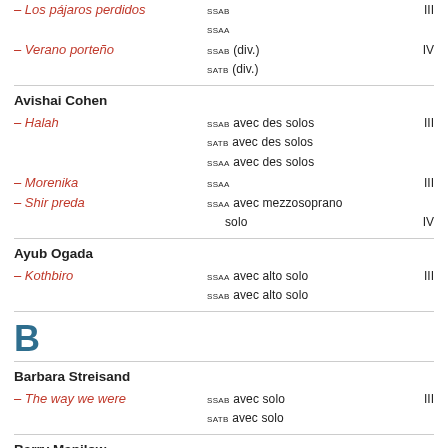– Los pájaros perdidos | SSAB | III
SSAA
– Verano porteño | SSAB (div.) | IV
SATB (div.)
Avishai Cohen
– Halah | SSAB avec des solos | III
SATB avec des solos
SSAA avec des solos
– Morenika | SSAA | III
– Shir preda | SSAA avec mezzosoprano
solo | IV
Ayub Ogada
– Kothbiro | SSAA avec alto solo | III
SSAB avec alto solo
B
Barbara Streisand
– The way we were | SSAB avec solo | III
SATB avec solo
Barry Manilow
– Copacabana | SSATB | III+